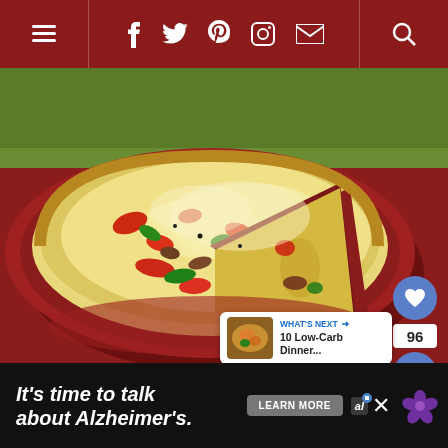Navigation bar with menu, social icons (Facebook, Twitter, Pinterest, Instagram, Email), and search
[Figure (photo): A baked egg frittata/quiche in a red ceramic pie dish, with a slice removed, showing colorful red peppers, green peppers, sausage, and melted cheese filling, placed outdoors on a green grass background]
[Figure (infographic): Heart/like button (blue circle with heart icon), count of 96, and share button (blue circle with share icon) on the right side]
[Figure (infographic): What's Next panel showing thumbnail and text '10 Low-Carb Dinner...']
[Figure (infographic): Advertisement banner: 'It’s time to talk about Alzheimer’s.' with Learn More button and Alzheimer's Association logo]